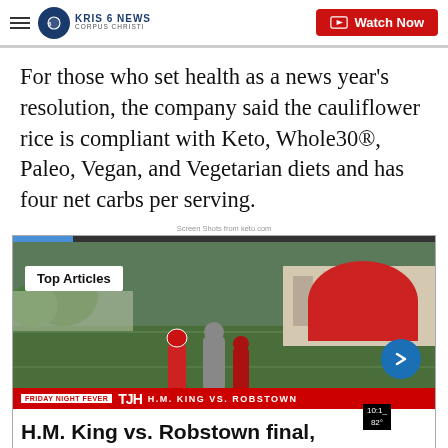KRIS 6 NEWS CORPUS CHRISTI | Watch Now
For those who set health as a news year's resolution, the company said the cauliflower rice is compliant with Keto, Whole30®, Paleo, Vegan, and Vegetarian diets and has four net carbs per serving.
Screen Shots from keto.com
[Figure (screenshot): Video still of a football game with Top Articles badge overlay, TJH H.M. KING VS. ROBSTOWN lower-third ticker, and headline bar reading 'H.M. King vs. Robstown final,']